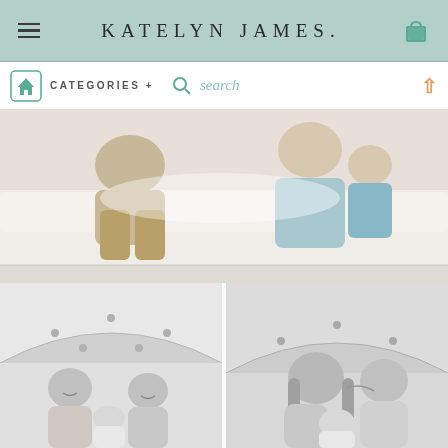KATELYN JAMES.
[Figure (photo): Navigation bar with home icon, CATEGORIES +, search icon, search text, and up arrow]
[Figure (photo): Top photo showing family (adults and children) sitting on a bed, light airy style]
[Figure (photo): Bottom left black and white photo of two older children (girl and boy) holding a newborn baby, smiling]
[Figure (photo): Bottom right black and white photo of two children kissing/nuzzling a newborn baby]